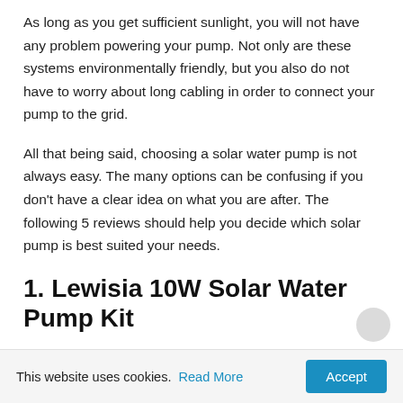As long as you get sufficient sunlight, you will not have any problem powering your pump. Not only are these systems environmentally friendly, but you also do not have to worry about long cabling in order to connect your pump to the grid.
All that being said, choosing a solar water pump is not always easy. The many options can be confusing if you don't have a clear idea on what you are after. The following 5 reviews should help you decide which solar pump is best suited your needs.
1. Lewisia 10W Solar Water Pump Kit
This website uses cookies. Read More Accept